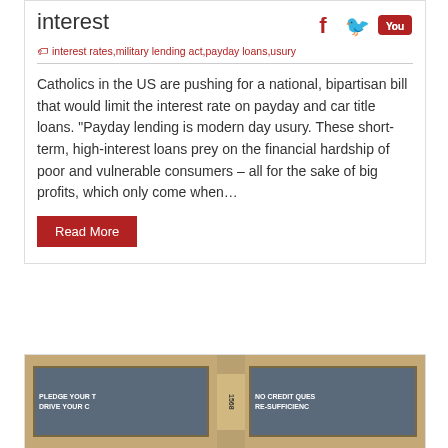interest
interest rates,military lending act,payday loans,usury
Catholics in the US are pushing for a national, bipartisan bill that would limit the interest rate on payday and car title loans. “Payday lending is modern day usury. These short-term, high-interest loans prey on the financial hardship of poor and vulnerable consumers – all for the sake of big profits, which only come when…
Read More
[Figure (photo): Storefront of a payday loan business with windows showing text 'PLEDGE YOUR T... DRIVE YOUR C...' and '1568' and 'NO CREDIT QUES... RE-SUFFICIENC...']